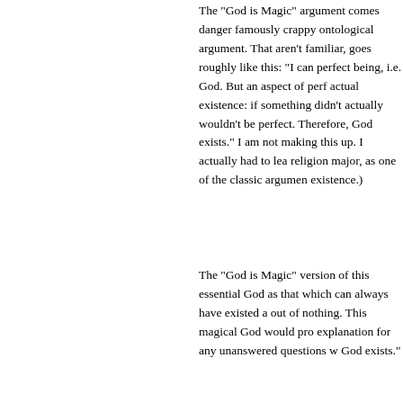The "God is Magic" argument comes danger famously crappy ontological argument. That aren't familiar, goes roughly like this: "I can perfect being, i.e. God. But an aspect of perf actual existence: if something didn't actually wouldn't be perfect. Therefore, God exists." I am not making this up. I actually had to lea religion major, as one of the classic argumen existence.)
The "God is Magic" version of this essential God as that which can always have existed a out of nothing. This magical God would pro explanation for any unanswered questions w God exists."
But the fact that you can imagine and define provide even one scrap of evidence that he a
[Figure (photo): Partial image strip visible at the bottom of the page showing what appears to be a colorful image with blue tones on the left.]